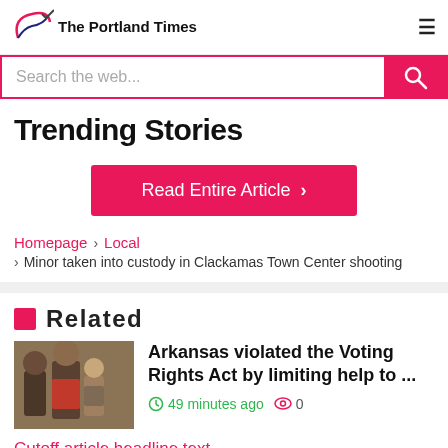The Portland Times
Search the web...
Trending Stories
Read Entire Article >
Homepage › Local › Minor taken into custody in Clackamas Town Center shooting
Related
Arkansas violated the Voting Rights Act by limiting help to ...
49 minutes ago  0
Cutoff article text